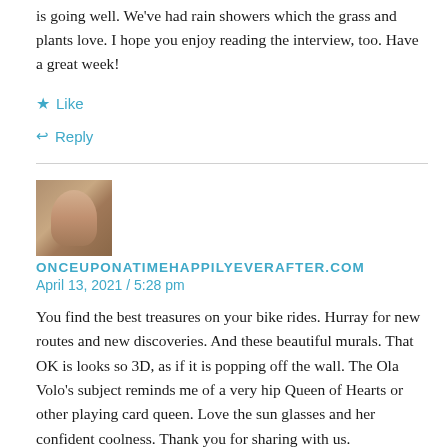is going well. We've had rain showers which the grass and plants love. I hope you enjoy reading the interview, too. Have a great week!
★ Like
↩ Reply
ONCEUPONATIMEHAPPILYEVERAFTER.COM
April 13, 2021 / 5:28 pm
You find the best treasures on your bike rides. Hurray for new routes and new discoveries. And these beautiful murals. That OK is looks so 3D, as if it is popping off the wall. The Ola Volo's subject reminds me of a very hip Queen of Hearts or other playing card queen. Love the sun glasses and her confident coolness. Thank you for sharing with us.